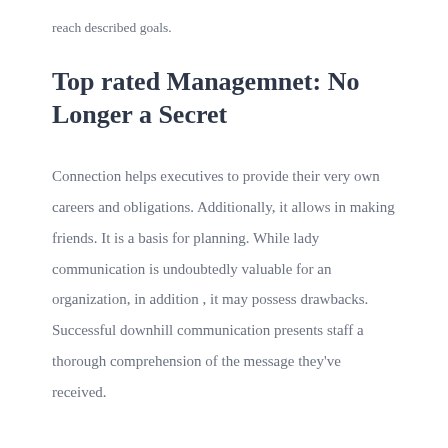reach described goals.
Top rated Managemnet: No Longer a Secret
Connection helps executives to provide their very own careers and obligations. Additionally, it allows in making friends. It is a basis for planning. While lady communication is undoubtedly valuable for an organization, in addition , it may possess drawbacks. Successful downhill communication presents staff a thorough comprehension of the message they've received.